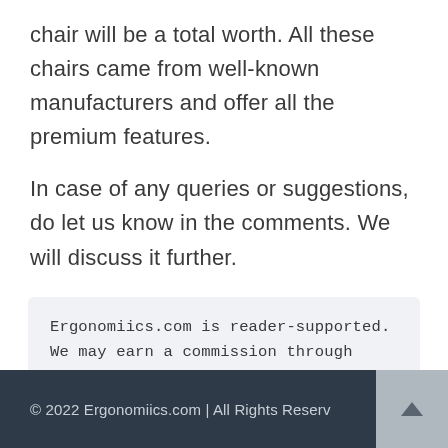chair will be a total worth. All these chairs came from well-known manufacturers and offer all the premium features.
In case of any queries or suggestions, do let us know in the comments. We will discuss it further.
Ergonomiics.com is reader-supported. We may earn a commission through products purchased using links on this page. Learn more about our process here
© 2022 Ergonomiics.com | All Rights Reserv